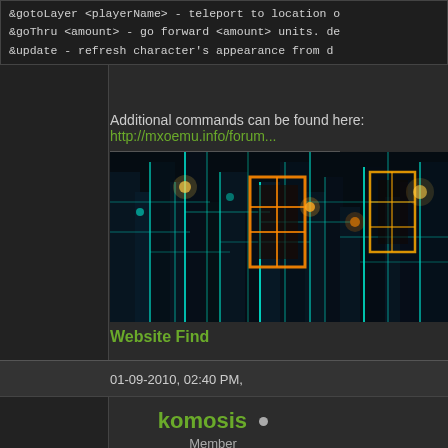&gotoLayer <playerName> - teleport to location of
&goThru <amount> - go forward <amount> units. def
&update - refresh character's appearance from db
Additional commands can be found here: http://mxoemu.info/forum...
[Figure (photo): Futuristic cityscape with neon teal and orange glowing structures at night, digital/matrix aesthetic]
Website Find
01-09-2010, 02:40 PM,
komosis
Member
Posts:
Threa
Joine
Repu
RE: MxoEmu Testing Server
Thanks rajkosto.